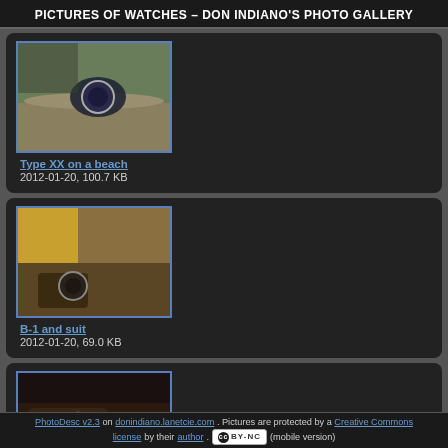PICTURES OF WATCHES – DON INDIANO'S PHOTO GALLERY
[Figure (photo): Watch (Type XX) lying on a beach with sand and pebbles]
Type XX on a beach
2012-01-20, 100.7 KB
[Figure (photo): Person wearing a B-1 watch with a suit jacket]
B-1 and suit
2012-01-20, 69.0 KB
[Figure (photo): Wrist with B-1 watch and leather jacket sleeve]
B-1 with leather jac...
PhotoDesc v2.3 on donindiano.lanetcie.com. Pictures are protected by a Creative Commons license by their author. (cc) BY-NC (mobile version)